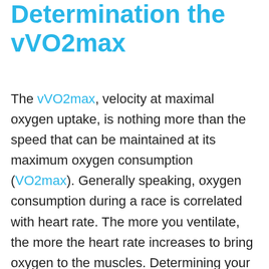Determination the vVO2max
The vVO2max, velocity at maximal oxygen uptake, is nothing more than the speed that can be maintained at its maximum oxygen consumption (VO2max). Generally speaking, oxygen consumption during a race is correlated with heart rate. The more you ventilate, the more the heart rate increases to bring oxygen to the muscles. Determining your vVO2max then consists in finding your speed at the maximum frequency that you can run. This is in general, the maximum heart rate. Thanks to the power/heart rate curve, it is easy to determine its maximum